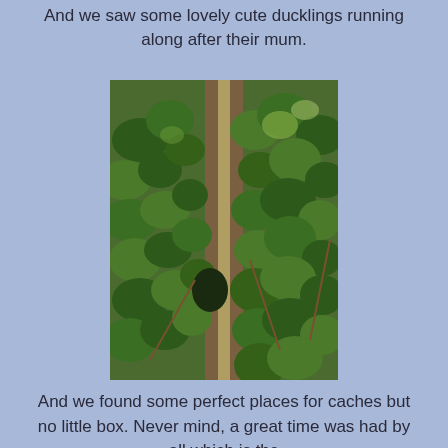And we saw some lovely cute ducklings running along after their mum.
[Figure (photo): Close-up photograph of ivy leaves covering a tree trunk in a woodland or garden setting. Dense green ivy foliage fills the frame, with a vertical tree trunk visible in the center background.]
And we found some perfect places for caches but no little box. Never mind, a great time was had by all which is the